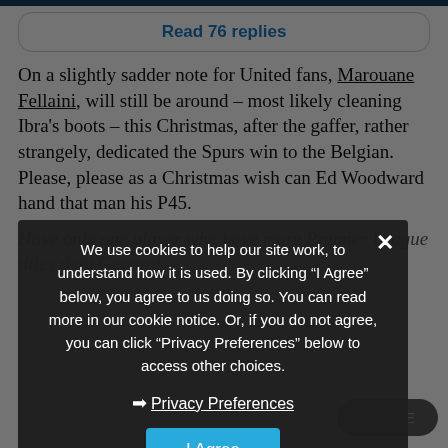Read 76 replies
On a slightly sadder note for United fans, Marouane Fellaini, will still be around – most likely cleaning Ibra's boots – this Christmas, after the gaffer, rather strangely, dedicated the Spurs win to the Belgian. Please, please as a Christmas wish can Ed Woodward hand that man his P45.
Have only one player who have more Premier League titles than Gerrard...
We use cookies to help our site work, to understand how it is used. By clicking "I Agree" below, you agree to us doing so. You can read more in our cookie notice. Or, if you do not agree, you can click "Privacy Preferences" below to access other choices.
Privacy Preferences
I Agree
SHARE